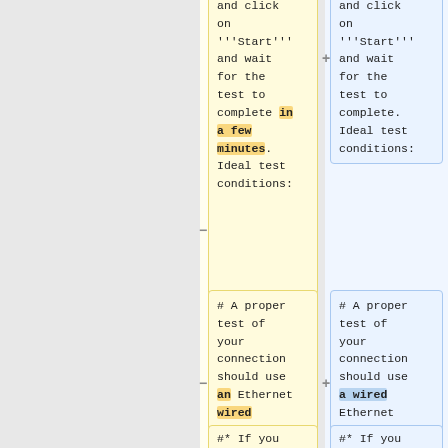and click on '''Start''' and wait for the test to complete in a few minutes. Ideal test conditions:
and click on '''Start''' and wait for the test to complete. Ideal test conditions:
# A proper test of your connection should use an Ethernet wired connection.
# A proper test of your connection should use a wired Ethernet connection.
#* If you
#* If you